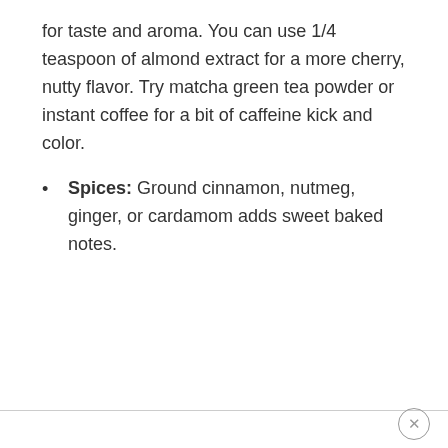for taste and aroma. You can use 1/4 teaspoon of almond extract for a more cherry, nutty flavor. Try matcha green tea powder or instant coffee for a bit of caffeine kick and color.
Spices: Ground cinnamon, nutmeg, ginger, or cardamom adds sweet baked notes.